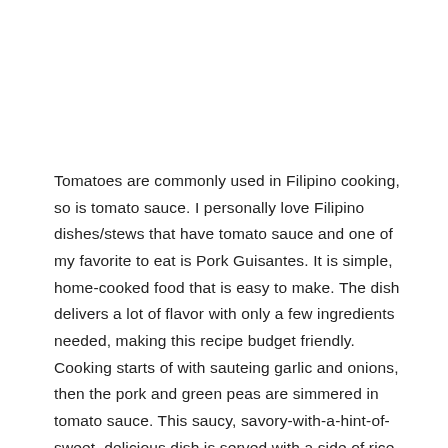Tomatoes are commonly used in Filipino cooking, so is tomato sauce. I personally love Filipino dishes/stews that have tomato sauce and one of my favorite to eat is Pork Guisantes. It is simple, home-cooked food that is easy to make. The dish delivers a lot of flavor with only a few ingredients needed, making this recipe budget friendly. Cooking starts of with sauteing garlic and onions, then the pork and green peas are simmered in tomato sauce. This saucy, savory-with-a-hint-of-sweet, delicious dish is served with a side of rice.